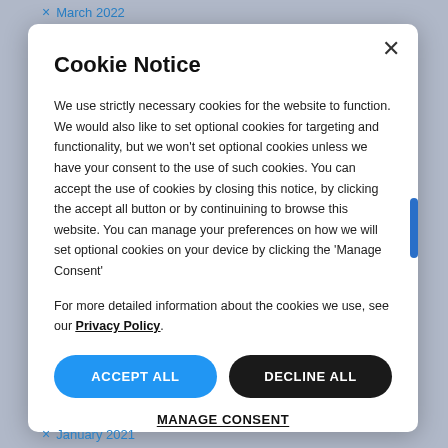March 2022
Cookie Notice
We use strictly necessary cookies for the website to function. We would also like to set optional cookies for targeting and functionality, but we won't set optional cookies unless we have your consent to the use of such cookies. You can accept the use of cookies by closing this notice, by clicking the accept all button or by continuining to browse this website. You can manage your preferences on how we will set optional cookies on your device by clicking the 'Manage Consent'
For more detailed information about the cookies we use, see our Privacy Policy.
ACCEPT ALL
DECLINE ALL
MANAGE CONSENT
January 2021